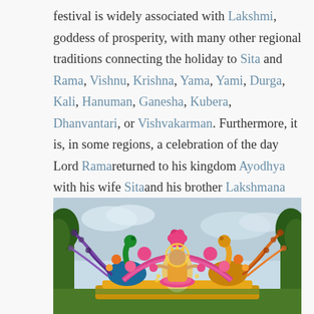festival is widely associated with Lakshmi, goddess of prosperity, with many other regional traditions connecting the holiday to Sita and Rama, Vishnu, Krishna, Yama, Yami, Durga, Kali, Hanuman, Ganesha, Kubera, Dhanvantari, or Vishvakarman. Furthermore, it is, in some regions, a celebration of the day Lord Ramareturned to his kingdom Ayodhya with his wife Sitaand his brother Lakshmana after defeating Ravana in Lanka and serving 14 years of exile. (From Wikipedia). Diwali is the term used in northern India and Deepavali is used in southern India/Sri Lanka.
[Figure (photo): A colorful Diwali festival float or decoration featuring two large peacocks on either side, a central goddess figure (Lakshmi) seated on a lotus, surrounded by vibrant floral decorations in pink, red, orange, and gold. Trees visible in the background with a partly cloudy sky.]